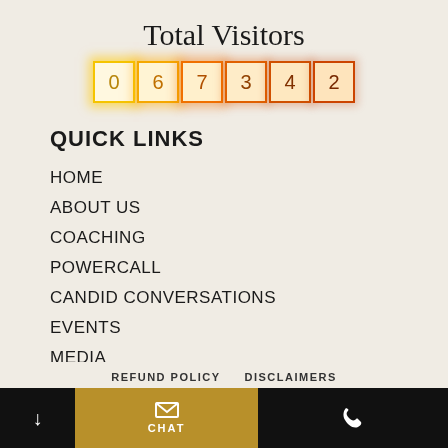Total Visitors
[Figure (other): Visitor counter display showing digits: 0, 6, 7, 3, 4, 2 in individual glowing boxes]
QUICK LINKS
HOME
ABOUT US
COACHING
POWERCALL
CANDID CONVERSATIONS
EVENTS
MEDIA
BLOG
CONTACT US
REFUND POLICY   DISCLAIMERS